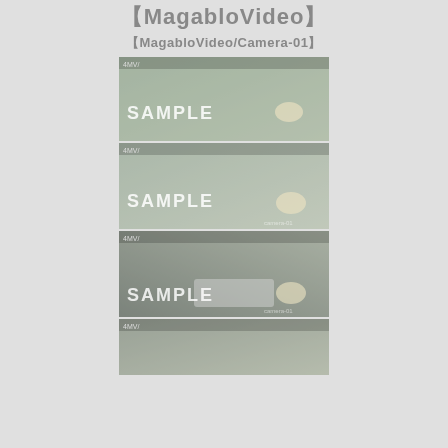【MagabloVideo】
【MagabloVideo/Camera-01】
[Figure (photo): Sample video frame 1 - bathroom scene with SAMPLE watermark]
[Figure (photo): Sample video frame 2 - bathroom scene with SAMPLE watermark]
[Figure (photo): Sample video frame 3 - bathroom scene with SAMPLE watermark]
[Figure (photo): Sample video frame 4 - bathroom scene (partial, bottom of page)]